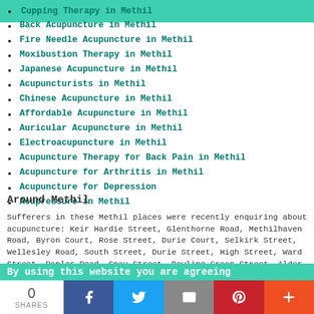Cupping Therapy in Methil
Back Acupuncture in Methil
Fire Needle Acupuncture in Methil
Moxibustion Therapy in Methil
Japanese Acupuncture in Methil
Acupuncturists in Methil
Chinese Acupuncture in Methil
Affordable Acupuncture in Methil
Auricular Acupuncture in Methil
Electroacupuncture in Methil
Acupuncture Therapy for Back Pain in Methil
Acupuncture for Arthritis in Methil
Acupuncture for Depression
Acupressure in Methil
Around Methil
Sufferers in these Methil places were recently enquiring about acupuncture: Keir Hardie Street, Glenthorne Road, Methilhaven Road, Byron Court, Rose Street, Durie Court, Selkirk Street, Wellesley Road, South Street, Durie Street, High Street, Ward Street, Poplar Road, Spey Street, Bowling Green Street, Alder Terrace, Cherry Court, Willow Bank,
By using this website you are agreeing